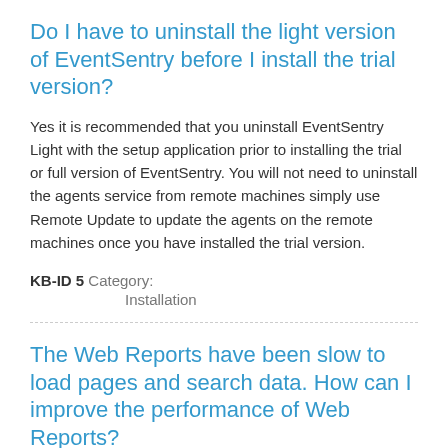Do I have to uninstall the light version of EventSentry before I install the trial version?
Yes it is recommended that you uninstall EventSentry Light with the setup application prior to installing the trial or full version of EventSentry. You will not need to uninstall the agents service from remote machines simply use Remote Update to update the agents on the remote machines once you have installed the trial version.
KB-ID 5 Category: Installation
The Web Reports have been slow to load pages and search data. How can I improve the performance of Web Reports?